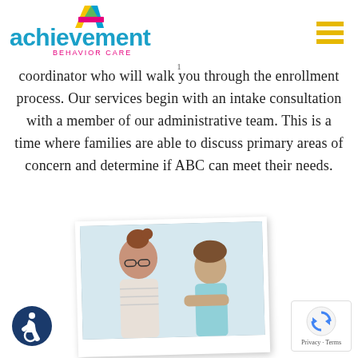[Figure (logo): Achievement Behavior Care logo with colorful A icon and teal/blue text]
coordinator who will walk you through the enrollment process. Our services begin with an intake consultation with a member of our administrative team. This is a time where families are able to discuss primary areas of concern and determine if ABC can meet their needs.
[Figure (photo): Woman with glasses smiling at a child in a consultation or therapy session setting]
[Figure (logo): Accessibility icon - wheelchair symbol in dark blue circle]
[Figure (other): reCAPTCHA badge with Privacy and Terms links]